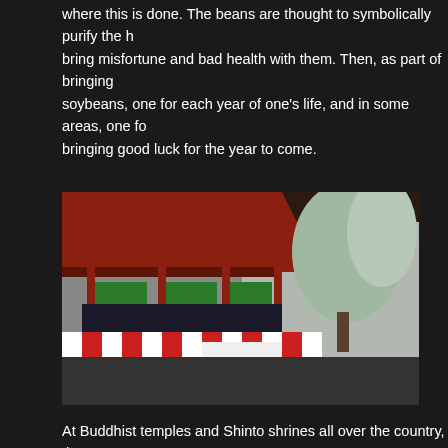where this is done. The beans are thought to symbolically purify the home and bring misfortune and bad health with them. Then, as part of bringing soybeans, one for each year of one's life, and in some areas, one for bringing good luck for the year to come.
[Figure (photo): A Setsubun bean-throwing ceremony at a Japanese Buddhist temple or Shinto shrine. People on a decorated balcony with red and white striped banners throw beans to a large crowd below. Snow-covered trees visible in the background. A sign with Japanese characters can be seen.]
At Buddhist temples and Shinto shrines all over the country, there are invited guests will throw roasted soy beans (some wrapped in gold o sweets, candies and other prizes. In some bigger shrines, even celeb these events are televised nationally.
[Figure (photo): Partial view of another image at the bottom of the page, appears to show a person and text related to Naritasan Setsubun Bean Throwing Festival]